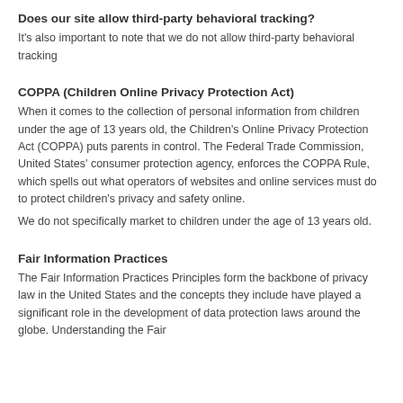Does our site allow third-party behavioral tracking?
It's also important to note that we do not allow third-party behavioral tracking
COPPA (Children Online Privacy Protection Act)
When it comes to the collection of personal information from children under the age of 13 years old, the Children's Online Privacy Protection Act (COPPA) puts parents in control. The Federal Trade Commission, United States' consumer protection agency, enforces the COPPA Rule, which spells out what operators of websites and online services must do to protect children's privacy and safety online.
We do not specifically market to children under the age of 13 years old.
Fair Information Practices
The Fair Information Practices Principles form the backbone of privacy law in the United States and the concepts they include have played a significant role in the development of data protection laws around the globe. Understanding the Fair